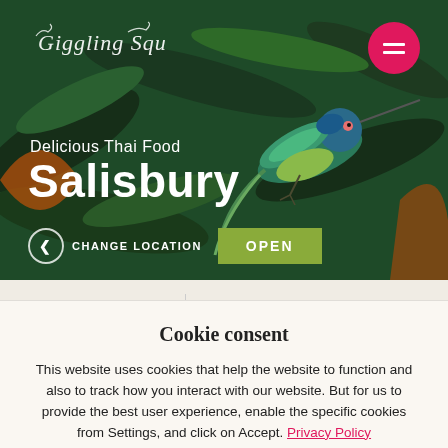[Figure (screenshot): Hero section of a Thai food restaurant website called Giggling Squid, Salisbury location. Background shows an artistic illustration of a colorful hummingbird with tropical leaves. Includes logo, hamburger menu button, subtitle 'Delicious Thai Food', city name 'Salisbury', 'CHANGE LOCATION' link, and 'OPEN' button.]
32 MARKET WALK SALISBURY
MON-SUN   12:00-22:30
Cookie consent
This website uses cookies that help the website to function and also to track how you interact with our website. But for us to provide the best user experience, enable the specific cookies from Settings, and click on Accept. Privacy Policy
Preferences
Accept All